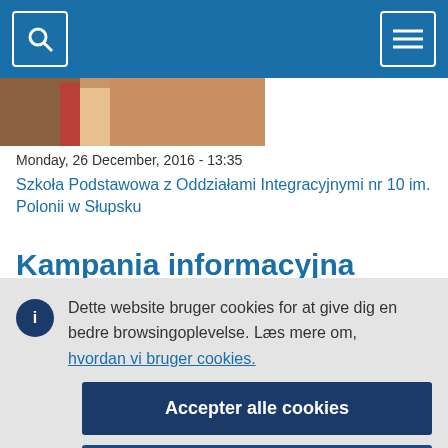Navigation bar with search and menu icons
[Figure (photo): Partial photo strip showing people in a corridor or hall setting]
Monday, 26 December, 2016 - 13:35
Szkoła Podstawowa z Oddziałami Integracyjnymi nr 10 im. Polonii w Słupsku
Kampania informacyjna
Dette website bruger cookies for at give dig en bedre browsingoplevelse. Læs mere om, hvordan vi bruger cookies.
Accepter alle cookies
Acceptér kun nødvendige cookies